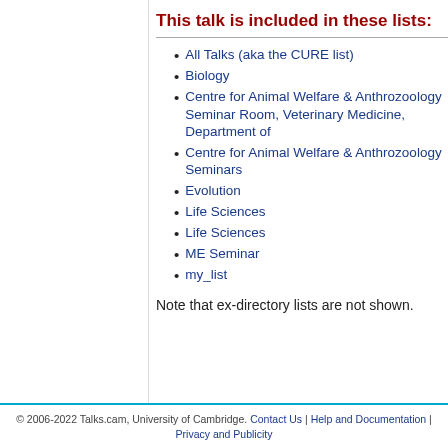This talk is included in these lists:
All Talks (aka the CURE list)
Biology
Centre for Animal Welfare & Anthrozoology Seminar Room, Veterinary Medicine, Department of
Centre for Animal Welfare & Anthrozoology Seminars
Evolution
Life Sciences
Life Sciences
ME Seminar
my_list
Note that ex-directory lists are not shown.
© 2006-2022 Talks.cam, University of Cambridge. Contact Us | Help and Documentation | Privacy and Publicity